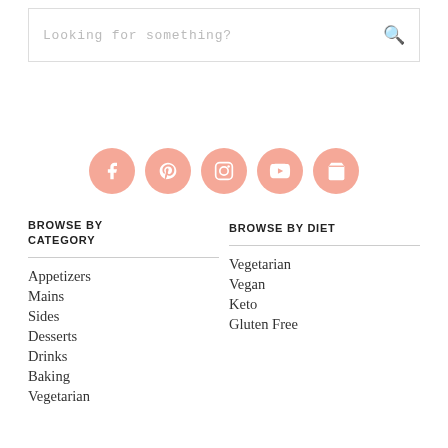Looking for something?
[Figure (infographic): Five salmon/peach colored social media icon circles: Facebook (f), Pinterest (p), Instagram (camera), YouTube (play), Shopping cart icon]
BROWSE BY CATEGORY
Appetizers
Mains
Sides
Desserts
Drinks
Baking
Vegetarian
BROWSE BY DIET
Vegetarian
Vegan
Keto
Gluten Free